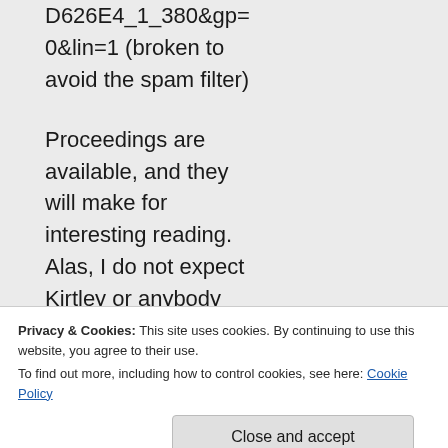D626E4_1_380&gp=0&lin=1 (broken to avoid the spam filter)

Proceedings are available, and they will make for interesting reading. Alas, I do not expect Kirtley or anybody else to do much with
Privacy & Cookies: This site uses cookies. By continuing to use this website, you agree to their use.
To find out more, including how to control cookies, see here: Cookie Policy
Close and accept
meeting you